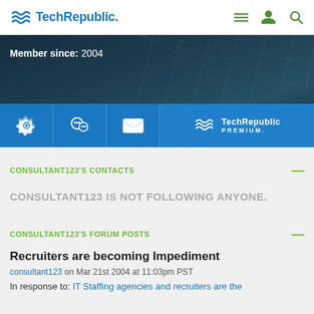TechRepublic.
[Figure (screenshot): Hero banner with dark teal architectural glass building background and 'Member since: 2004' text overlay]
Member since: 2004
[Figure (infographic): Blue icon bar with settings gear, chat/forum, envelope/mail icons and TechRepublic PREMIUM logo]
CONSULTANT123'S CONTACTS
CONSULTANT123 IS NOT FOLLOWING ANYONE.
CONSULTANT123'S FORUM POSTS
Recruiters are becoming Impediment
consultant123 on Mar 21st 2004 at 11:03pm PST
In response to: IT Staffing agencies and recruiters are the